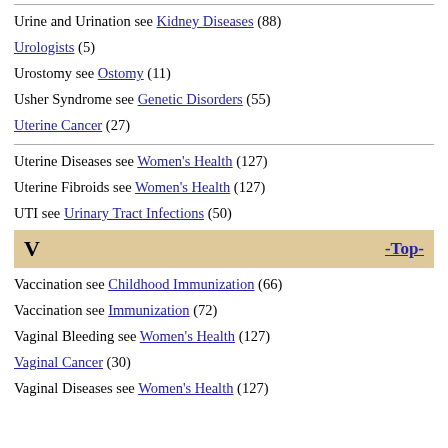Urine and Urination see Kidney Diseases (88)
Urologists (5)
Urostomy see Ostomy (11)
Usher Syndrome see Genetic Disorders (55)
Uterine Cancer (27)
Uterine Diseases see Women's Health (127)
Uterine Fibroids see Women's Health (127)
UTI see Urinary Tract Infections (50)
V   -Top-
Vaccination see Childhood Immunization (66)
Vaccination see Immunization (72)
Vaginal Bleeding see Women's Health (127)
Vaginal Cancer (30)
Vaginal Diseases see Women's Health (127)